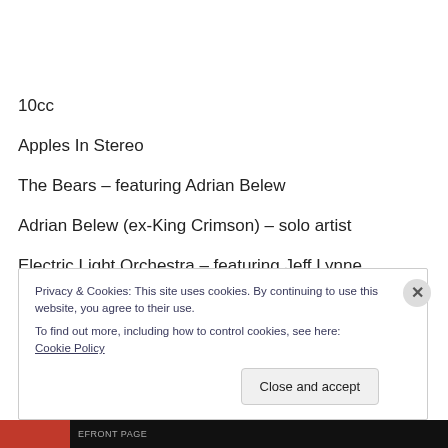10cc
Apples In Stereo
The Bears – featuring Adrian Belew
Adrian Belew (ex-King Crimson) – solo artist
Electric Light Orchestra – featuring Jeff Lynne
Privacy & Cookies: This site uses cookies. By continuing to use this website, you agree to their use.
To find out more, including how to control cookies, see here: Cookie Policy